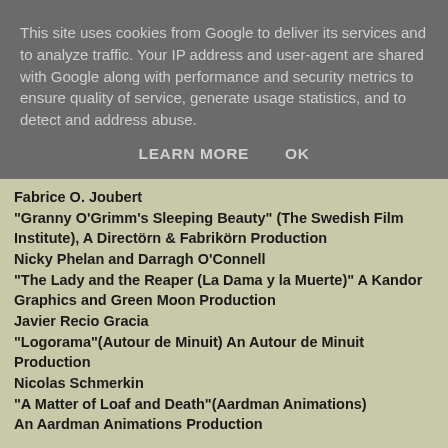This site uses cookies from Google to deliver its services and to analyze traffic. Your IP address and user-agent are shared with Google along with performance and security metrics to ensure quality of service, generate usage statistics, and to detect and address abuse.
LEARN MORE   OK
Fabrice O. Joubert
"Granny O'Grimm's Sleeping Beauty" (The Swedish Film Institute), A Directörn & Fabrikörn Production
Nicky Phelan and Darragh O'Connell
"The Lady and the Reaper (La Dama y la Muerte)" A Kandor Graphics and Green Moon Production
Javier Recio Gracia
"Logorama"(Autour de Minuit) An Autour de Minuit Production
Nicolas Schmerkin
"A Matter of Loaf and Death"(Aardman Animations) An Aardman Animations Production
Pidde Andersson kl. 16:11